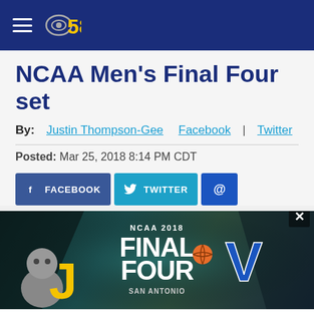CBS 58
NCAA Men's Final Four set
By: Justin Thompson-Gee   Facebook | Twitter
Posted: Mar 25, 2018 8:14 PM CDT
[Figure (screenshot): Social share buttons: Facebook, Twitter, Email (@)]
[Figure (photo): NCAA 2018 Final Four San Antonio promotional banner image showing team mascots and logos including Villanova]
[Figure (screenshot): Advertisement: Shop Online, Pickup Today - World Market with navigation arrow icon]